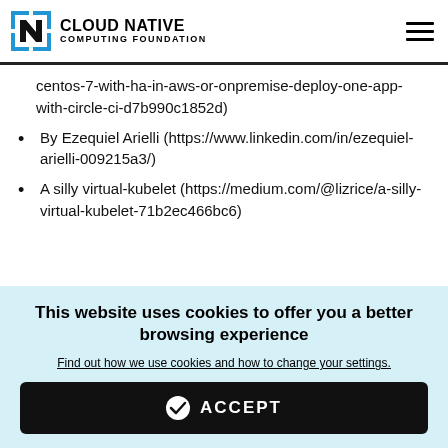CLOUD NATIVE COMPUTING FOUNDATION
centos-7-with-ha-in-aws-or-onpremise-deploy-one-app-with-circle-ci-d7b990c1852d)
By Ezequiel Arielli (https://www.linkedin.com/in/ezequiel-arielli-009215a3/)
A silly virtual-kubelet (https://medium.com/@lizrice/a-silly-virtual-kubelet-71b2ec466bc6)
This website uses cookies to offer you a better browsing experience
Find out how we use cookies and how to change your settings.
ACCEPT